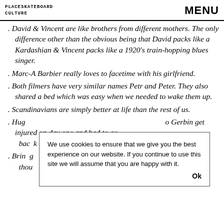PLACESKATEBOARD CULTURE   MENU
David & Vincent are like brothers from different mothers. The only difference other than the obvious being that David packs like a Kardashian & Vincent packs like a 1920's train-hopping blues singer.
Marc-A Barbier really loves to facetime with his girlfriend.
Both filmers have very similar names Petr and Peter. They also shared a bed which was easy when we needed to wake them up.
Scandinavians are simply better at life than the rest of us.
Hugo Gerbin get injured on day one and had to go back...
Bring... thou...
We use cookies to ensure that we give you the best experience on our website. If you continue to use this site we will assume that you are happy with it.  Ok